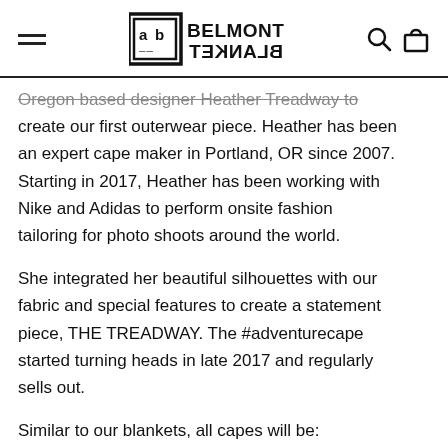Belmont Blanket (logo with navigation icons)
Oregon based designer Heather Treadway to create our first outerwear piece. Heather has been an expert cape maker in Portland, OR since 2007. Starting in 2017, Heather has been working with Nike and Adidas to perform onsite fashion tailoring for photo shoots around the world.
She integrated her beautiful silhouettes with our fabric and special features to create a statement piece, THE TREADWAY. The #adventurecape started turning heads in late 2017 and regularly sells out.
Similar to our blankets, all capes will be: